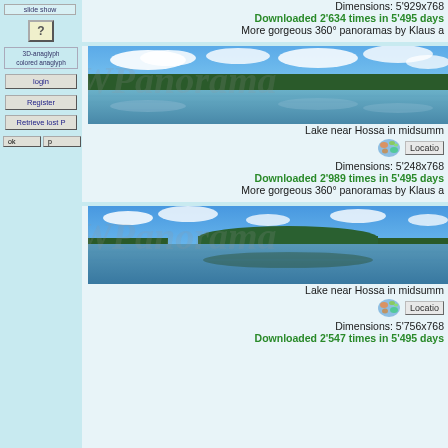Dimensions: 5'929x768
Downloaded 2'634 times in 5'495 days
More gorgeous 360° panoramas by Klaus a
[Figure (photo): Panoramic photo of a lake near Hossa in midsummer, showing blue sky with clouds reflected in calm water, surrounded by forest]
Lake near Hossa in midsumm
Dimensions: 5'248x768
Downloaded 2'989 times in 5'495 days
More gorgeous 360° panoramas by Klaus a
[Figure (photo): Panoramic photo of a lake near Hossa in midsummer, showing blue sky with scattered clouds, island of trees reflected in calm water]
Lake near Hossa in midsumm
Dimensions: 5'756x768
Downloaded 2'547 times in 5'495 days